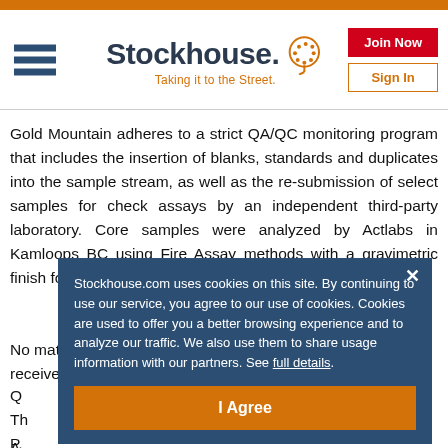Stockhouse. Taking it to the Street.
Gold Mountain adheres to a strict QA/QC monitoring program that includes the insertion of blanks, standards and duplicates into the sample stream, as well as the re-submission of select samples for check assays by an independent third-party laboratory. Core samples were analyzed by Actlabs in Kamloops BC using Fire Assay methods with a gravimetric finish for results over 10g/t gold.
No material QA/QC issues were noted with the results received from th...
Q...
Th... P... B-10...
A...
Stockhouse.com uses cookies on this site. By continuing to use our service, you agree to our use of cookies. Cookies are used to offer you a better browsing experience and to analyze our traffic. We also use them to share usage information with our partners. See full details.